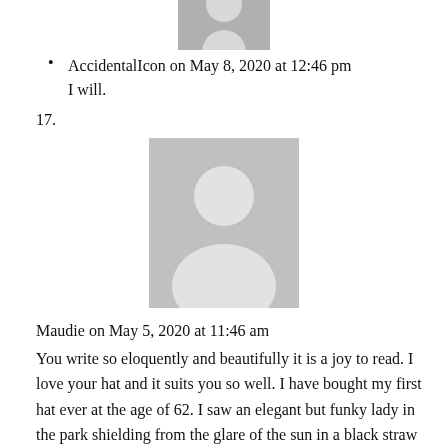[Figure (photo): Top portion of a gray placeholder avatar image (person silhouette), cropped at top of page]
AccidentalIcon on May 8, 2020 at 12:46 pm
I will.
17.
[Figure (photo): Gray placeholder avatar image showing a person silhouette (head and shoulders) on a gray background]
Maudie on May 5, 2020 at 11:46 am
You write so eloquently and beautifully it is a joy to read. I love your hat and it suits you so well. I have bought my first hat ever at the age of 62. I saw an elegant but funky lady in the park shielding from the glare of the sun in a black straw downturned brim hat. I fell in love with the hat and after days of internet searching found one. It has opened up a whole